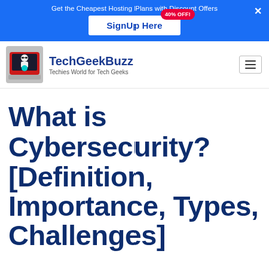Get the Cheapest Hosting Plans with Discount Offers | 40% OFF! | SignUp Here
[Figure (logo): TechGeekBuzz logo: hacker figure with laptop on red background]
TechGeekBuzz
Techies World for Tech Geeks
What is Cybersecurity? [Definition, Importance, Types, Challenges]